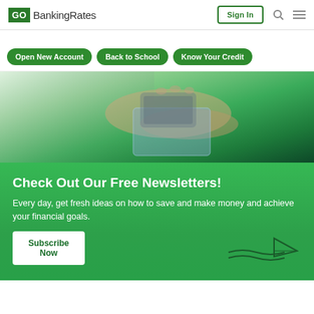GO BankingRates | Sign In
Open New Account
Back to School
Know Your Credit
[Figure (photo): Hands holding a credit card and smartphone on a dark surface with green tint overlay]
Check Out Our Free Newsletters!
Every day, get fresh ideas on how to save and make money and achieve your financial goals.
Subscribe Now